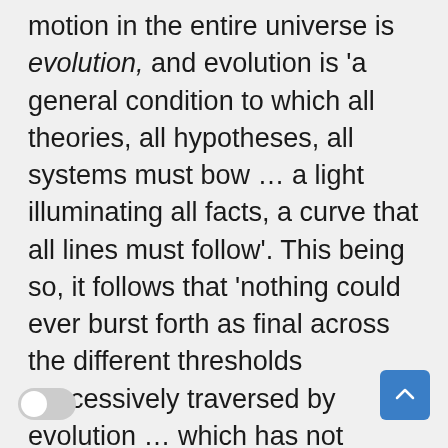motion in the entire universe is evolution, and evolution is 'a general condition to which all theories, all hypotheses, all systems must bow … a light illuminating all facts, a curve that all lines must follow'. This being so, it follows that 'nothing could ever burst forth as final across the different thresholds successively traversed by evolution … which has not already existed in an obscure and primordial way' (again my romans). Nothing is wholly new: there is always some primordium or rudiment or archetype of whatever exists or has existed. Love, for example — 'that is to say, the affinity of being with being' — is to be found in some form throughout the organic world, and even at a 'prodigiously rudimentary level', for if there were no